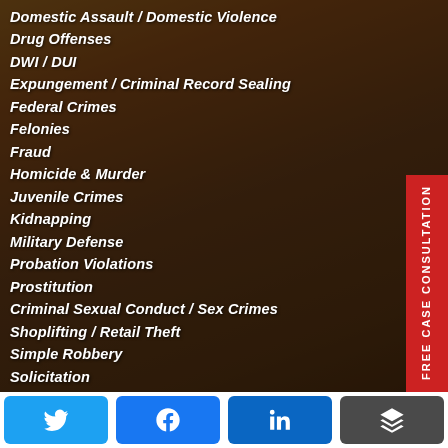Domestic Assault / Domestic Violence
Drug Offenses
DWI / DUI
Expungement / Criminal Record Sealing
Federal Crimes
Felonies
Fraud
Homicide & Murder
Juvenile Crimes
Kidnapping
Military Defense
Probation Violations
Prostitution
Criminal Sexual Conduct / Sex Crimes
Shoplifting / Retail Theft
Simple Robbery
Solicitation
[Figure (infographic): FREE CASE CONSULTATION vertical red tab on right side with envelope icon]
Social share buttons: Twitter, Facebook, LinkedIn, Buffer